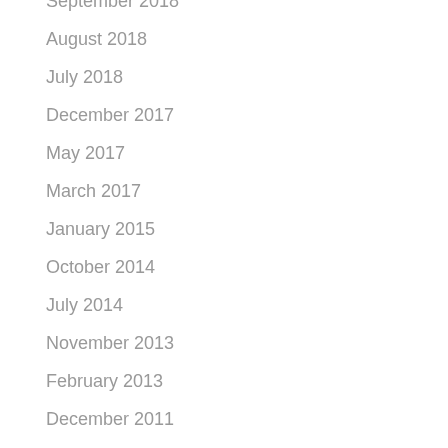September 2018
August 2018
July 2018
December 2017
May 2017
March 2017
January 2015
October 2014
July 2014
November 2013
February 2013
December 2011
November 2011
February 2011
May 2009